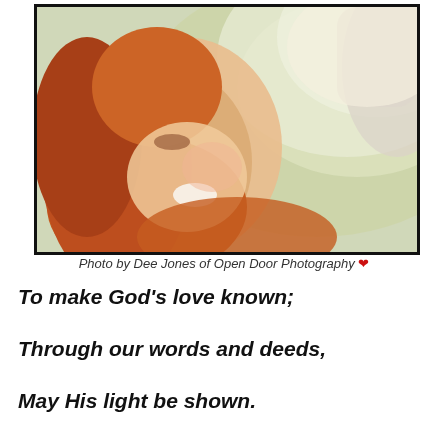[Figure (photo): A smiling woman with red hair looking up, photographed outdoors with soft blurred background and another person partially visible on the right side. The photo has a black border.]
Photo by Dee Jones of Open Door Photography ❤
To make God's love known;
Through our words and deeds,
May His light be shown.